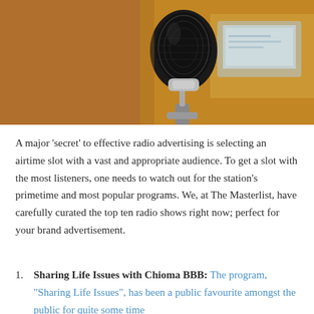[Figure (photo): Close-up photo of a vintage microphone in the foreground with a blurred computer monitor/screen in the background, warm brown tones.]
A major ‘secret’ to effective radio advertising is selecting an airtime slot with a vast and appropriate audience. To get a slot with the most listeners, one needs to watch out for the station’s primetime and most popular programs. We, at The Masterlist, have carefully curated the top ten radio shows right now; perfect for your brand advertisement.
Sharing Life Issues with Chioma BBB: The program, “Sharing Life Issues”, has been a public favourite amongst the public for quite some time